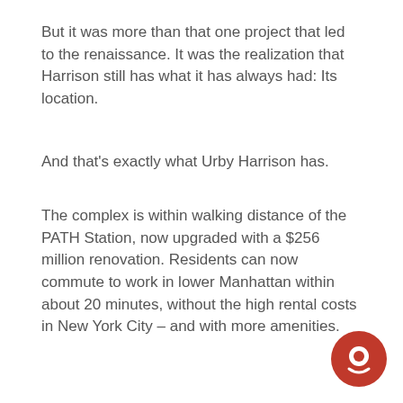But it was more than that one project that led to the renaissance. It was the realization that Harrison still has what it has always had: Its location.
And that's exactly what Urby Harrison has.
The complex is within walking distance of the PATH Station, now upgraded with a $256 million renovation. Residents can now commute to work in lower Manhattan within about 20 minutes, without the high rental costs in New York City – and with more amenities.
[Figure (illustration): Red circular chat/message icon in bottom-right corner]